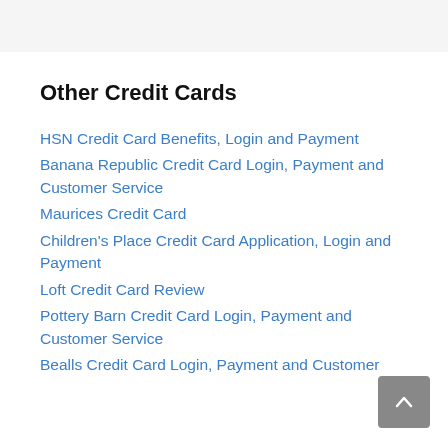Other Credit Cards
HSN Credit Card Benefits, Login and Payment
Banana Republic Credit Card Login, Payment and Customer Service
Maurices Credit Card
Children's Place Credit Card Application, Login and Payment
Loft Credit Card Review
Pottery Barn Credit Card Login, Payment and Customer Service
Bealls Credit Card Login, Payment and Customer